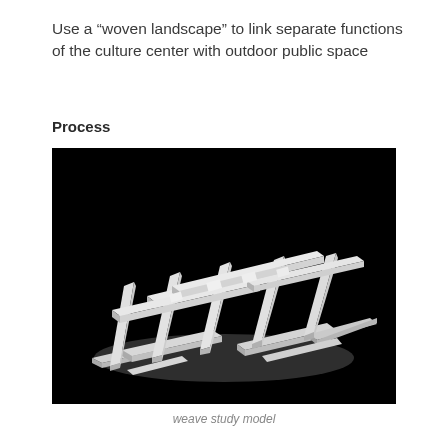Use a “woven landscape” to link separate functions of the culture center with outdoor public space
Process
[Figure (photo): A white architectural study model photographed against a black background, showing an interlocking grid of perpendicular elongated bar/slab elements woven together, representing a 'weave' structural concept for a culture center.]
weave study model